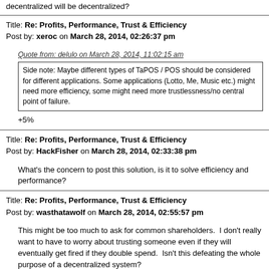decentralized will be decentralized?
Title: Re: Profits, Performance, Trust & Efficiency
Post by: xeroc on March 28, 2014, 02:26:37 pm
Quote from: delulo on March 28, 2014, 11:02:15 am
Side note: Maybe different types of TaPOS / POS should be considered for different applications. Some applications (Lotto, Me, Music etc.) might need more efficiency, some might need more trustlessness/no central point of failure.
+5%
Title: Re: Profits, Performance, Trust & Efficiency
Post by: HackFisher on March 28, 2014, 02:33:38 pm
What's the concern to post this solution, is it to solve efficiency and performance?
Title: Re: Profits, Performance, Trust & Efficiency
Post by: wasthatawolf on March 28, 2014, 02:55:57 pm
This might be too much to ask for common shareholders.  I don't really want to have to worry about trusting someone even if they will eventually get fired if they double spend.  Isn't this defeating the whole purpose of a decentralized system?
Title: Re: Profits, Performance, Trust & Efficiency